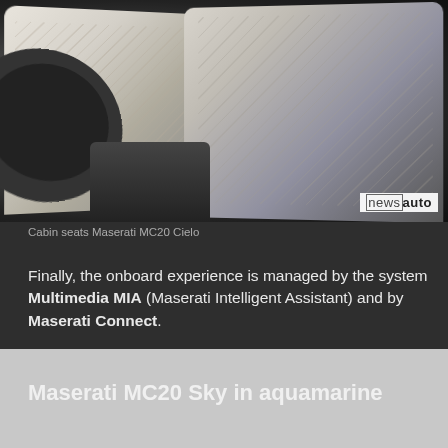[Figure (photo): Interior of Maserati MC20 Cielo showing quilted white leather seats and steering wheel, with newsauto watermark in bottom right corner]
Cabin seats Maserati MC20 Cielo
Finally, the onboard experience is managed by the system Multimedia MIA (Maserati Intelligent Assistant) and by Maserati Connect.
Maserati MC20 Sky in aquamarine